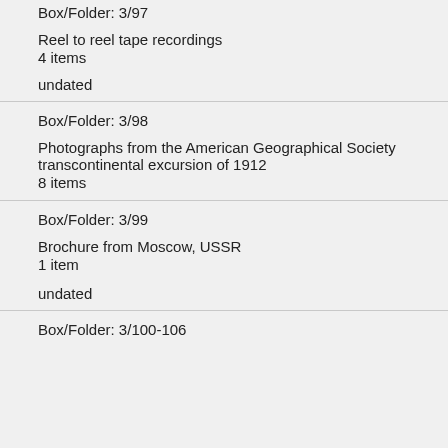Box/Folder: 3/97
Reel to reel tape recordings
4 items
undated
Box/Folder: 3/98
Photographs from the American Geographical Society transcontinental excursion of 1912
8 items
Box/Folder: 3/99
Brochure from Moscow, USSR
1 item
undated
Box/Folder: 3/100-106